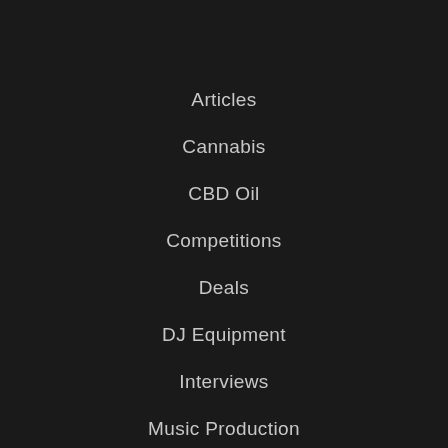Articles
Cannabis
CBD Oil
Competitions
Deals
DJ Equipment
Interviews
Music Production
Party Reviews
Psychedelics